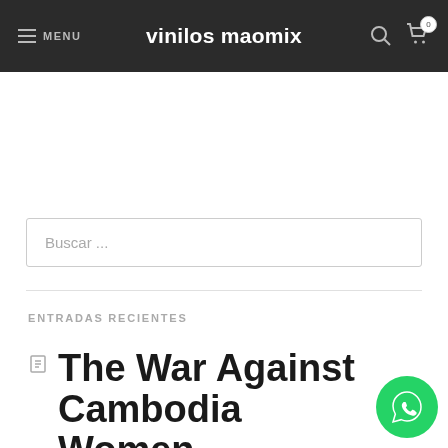MENU | vinilos maomix
Buscar ...
ENTRADAS RECIENTES
The War Against Cambodia Women
[Figure (logo): WhatsApp floating action button (green circle with WhatsApp logo)]